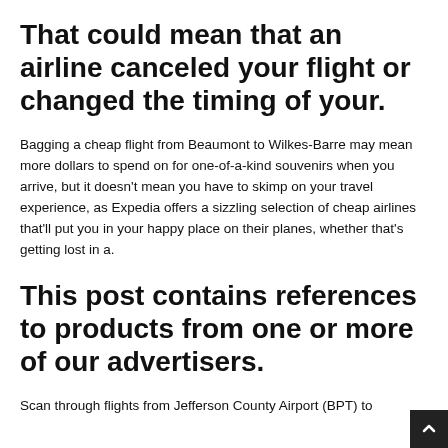That could mean that an airline canceled your flight or changed the timing of your.
Bagging a cheap flight from Beaumont to Wilkes-Barre may mean more dollars to spend on for one-of-a-kind souvenirs when you arrive, but it doesn’t mean you have to skimp on your travel experience, as Expedia offers a sizzling selection of cheap airlines that’ll put you in your happy place on their planes, whether that's getting lost in a.
This post contains references to products from one or more of our advertisers.
Scan through flights from Jefferson County Airport (BPT) to